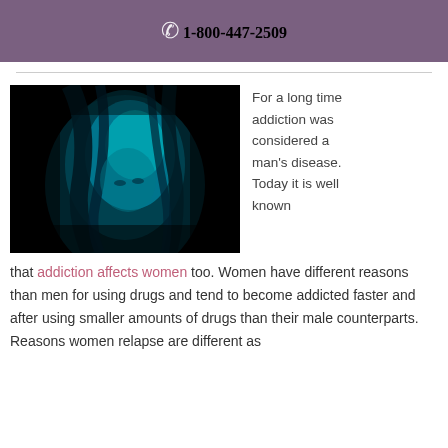1-800-447-2509
[Figure (photo): Woman with head bowed, illuminated in blue/teal dramatic lighting against a dark background]
For a long time addiction was considered a man's disease. Today it is well known that addiction affects women too. Women have different reasons than men for using drugs and tend to become addicted faster and after using smaller amounts of drugs than their male counterparts. Reasons women relapse are different as